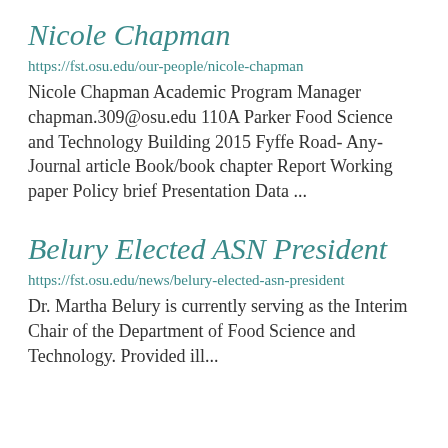Nicole Chapman
https://fst.osu.edu/our-people/nicole-chapman
Nicole Chapman Academic Program Manager chapman.309@osu.edu 110A Parker Food Science and Technology Building 2015 Fyffe Road- Any- Journal article Book/book chapter Report Working paper Policy brief Presentation Data ...
Belury Elected ASN President
https://fst.osu.edu/news/belury-elected-asn-president
Dr. Martha Belury is currently serving as the Interim Chair of the Department of Food Science and Technology. Provided illustration...